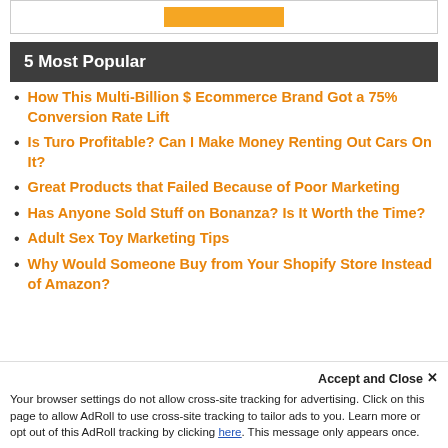[Figure (other): Orange button/banner at top of page]
5 Most Popular
How This Multi-Billion $ Ecommerce Brand Got a 75% Conversion Rate Lift
Is Turo Profitable? Can I Make Money Renting Out Cars On It?
Great Products that Failed Because of Poor Marketing
Has Anyone Sold Stuff on Bonanza? Is It Worth the Time?
Adult Sex Toy Marketing Tips
Why Would Someone Buy from Your Shopify Store Instead of Amazon?
Accept and Close ✕
Your browser settings do not allow cross-site tracking for advertising. Click on this page to allow AdRoll to use cross-site tracking to tailor ads to you. Learn more or opt out of this AdRoll tracking by clicking here. This message only appears once.